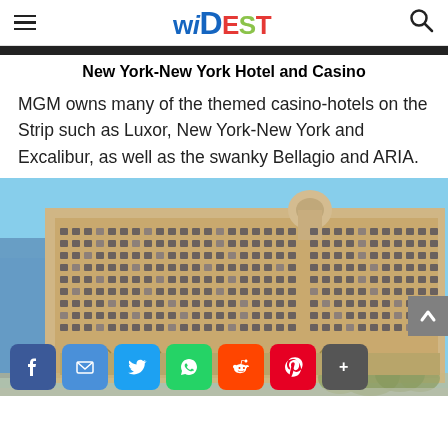WIDEST
New York-New York Hotel and Casino
MGM owns many of the themed casino-hotels on the Strip such as Luxor, New York-New York and Excalibur, as well as the swanky Bellagio and ARIA.
[Figure (photo): Exterior photo of the Bellagio hotel and casino in Las Vegas, a large multi-story tan/cream colored building with many windows, blue sky, and fountains at bottom. Social media share buttons (Facebook, Email, Twitter, WhatsApp, Reddit, Pinterest, More) overlaid at bottom.]